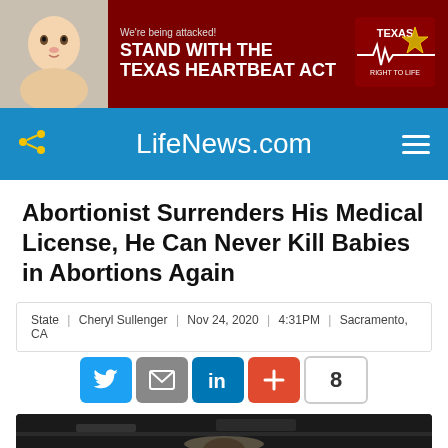[Figure (infographic): Advertisement banner: baby photo on left, dark red background with text 'We're being attacked! STAND WITH THE TEXAS HEARTBEAT ACT' and Texas Right to Life logo on right]
LifeNews.com
Abortionist Surrenders His Medical License, He Can Never Kill Babies in Abortions Again
State | Cheryl Sullenger | Nov 24, 2020 | 4:31PM | Sacramento, CA
[Figure (infographic): Social sharing buttons: Twitter (blue bird), Email (grey envelope), LinkedIn (blue), Plus/share (red), count badge showing 8]
[Figure (photo): Nighttime outdoor photo showing a person from shoulders up, with parking lot or road in background]